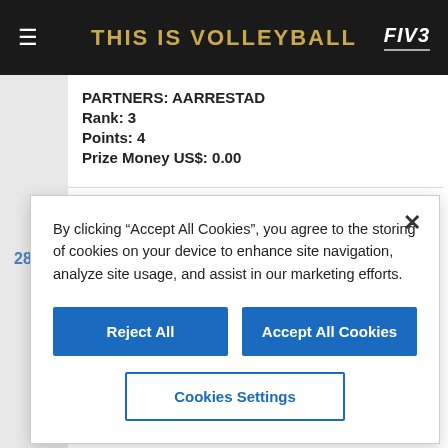THIS IS VOLLEYBALL
PARTNERS: AARRESTAD
Rank: 3
Points: 4
Prize Money US$: 0.00
28  Season: 2015
Date: 6/6/2015 12:00:00 AM
Type: NT
Tournament: Stavanger (NO)
PARTNERS: AARRESTAD
By clicking “Accept All Cookies”, you agree to the storing of cookies on your device to enhance site navigation, analyze site usage, and assist in our marketing efforts.
Reject All
Accept All Cookies
Cookies Settings